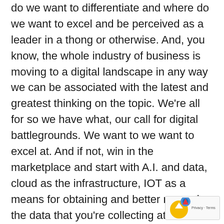do we want to differentiate and where do we want to excel and be perceived as a leader in a thong or otherwise. And, you know, the whole industry of business is moving to a digital landscape in any way we can be associated with the latest and greatest thinking on the topic. We're all for so we have what, our call for digital battlegrounds. We want to we want to excel at. And if not, win in the marketplace and start with A.I. and data, cloud as the infrastructure, IOT as a means for obtaining and better managing the data that you're collecting at the networks edge. And what we call software engineering, which is kind of the modern approach to building new cloud native applications or modernizing existing legacy systems so they can work in the digital age. If the idea fits there, if we have a differentiated point of view, if we have evidence to support our view, if we have examples that show how we work, that it's not all just, you know, a sky thinking. Right. Right. I'm more than willing to sit and work with our subject matter experts and get